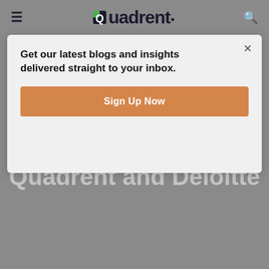≡  Quadrent·  🔍
benefits of movements in key financial ratios.
Gain strategic advantages from your incremental borrowing rates with Quadrent and Deloitte
Get our latest blogs and insights delivered straight to your inbox.
Sign Up Now
IBR analytics and comparison tools provide companies with the data to make the best strategic judgement, not only for compliance but for each financial area across a company. With these tools, organisations can position themselves to benefit